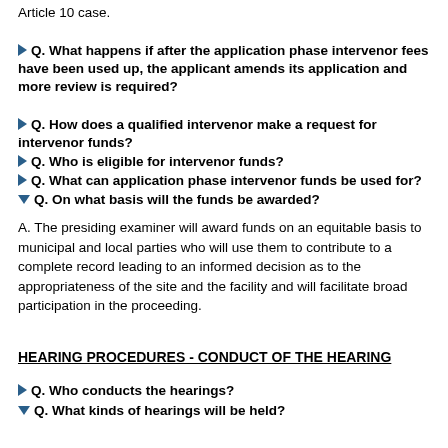Article 10 case.
Q. What happens if after the application phase intervenor fees have been used up, the applicant amends its application and more review is required?
Q. How does a qualified intervenor make a request for intervenor funds?
Q. Who is eligible for intervenor funds?
Q. What can application phase intervenor funds be used for?
Q. On what basis will the funds be awarded?
A. The presiding examiner will award funds on an equitable basis to municipal and local parties who will use them to contribute to a complete record leading to an informed decision as to the appropriateness of the site and the facility and will facilitate broad participation in the proceeding.
HEARING PROCEDURES - CONDUCT OF THE HEARING
Q. Who conducts the hearings?
Q. What kinds of hearings will be held?